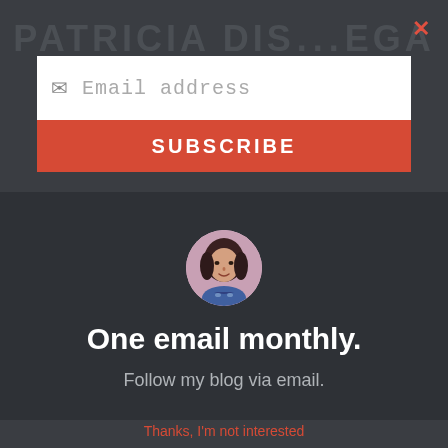PATRICIA DIS... EGA
[Figure (screenshot): Email subscription modal overlay with email input field, SUBSCRIBE button, circular author avatar photo, heading 'One email monthly.' and subtext 'Follow my blog via email.']
Email address
SUBSCRIBE
One email monthly.
Follow my blog via email.
Thanks, I'm not interested